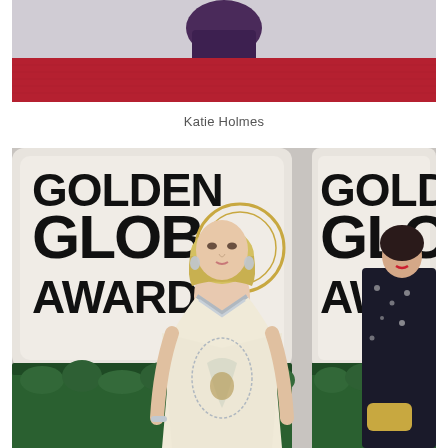[Figure (photo): Top portion of a photo showing a person in a purple/dark outfit on a red carpet, cropped at top of page]
Katie Holmes
[Figure (photo): Photo of Sienna Miller at the Golden Globe Awards, wearing a cream/white gown with silver embellishments and deep V-neckline, standing in front of Golden Globe Awards backdrop. Another woman in a dark floral dress is partially visible on the right.]